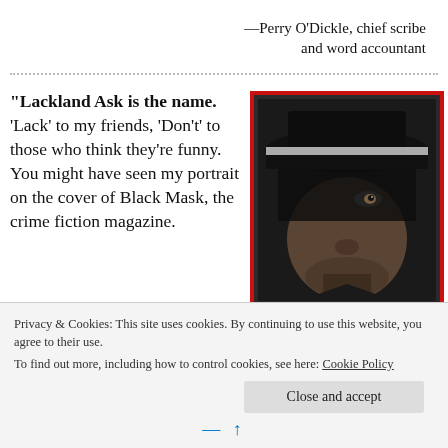—Perry O'Dickle, chief scribe and word accountant
“Lackland Ask is the name. ‘Lack’ to my friends, ‘Don’t’ to those who think they’re funny. You might have seen my portrait on the cover of Black Mask, the crime fiction magazine.
[Figure (photo): Black and white noir-style portrait of a man wearing a wide-brimmed fedora hat, face partially shadowed, with a red border frame.]
Privacy & Cookies: This site uses cookies. By continuing to use this website, you agree to their use.
To find out more, including how to control cookies, see here: Cookie Policy
Close and accept